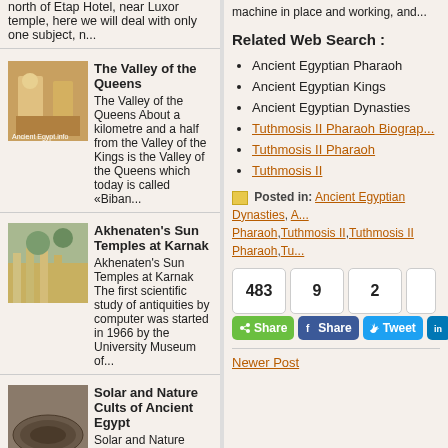north of Etap Hotel, near Luxor temple, here we will deal with only one subject, n...
The Valley of the Queens
The Valley of the Queens About a kilometre and a half from the Valley of the Kings is the Valley of the Queens which today is called «Biban...
Akhenaten's Sun Temples at Karnak
Akhenaten's Sun Temples at Karnak The first scientific study of antiquities by computer was started in 1966 by the University Museum of...
Solar and Nature Cults of Ancient Egypt
Solar and Nature Cults The natural questions of How or Why in pre-dynastic times of Ancient Egypt...
machine in place and working, and...
Related Web Search :
Ancient Egyptian Pharaoh
Ancient Egyptian Kings
Ancient Egyptian Dynasties
Tuthmosis II Pharaoh Biography
Tuthmosis II Pharaoh
Tuthmosis II
Posted in: Ancient Egyptian Dynasties, Ancient Egyptian Pharaoh, Tuthmosis II, Tuthmosis II Pharaoh, Tu...
483  9  2
Share  Share  Tweet  in